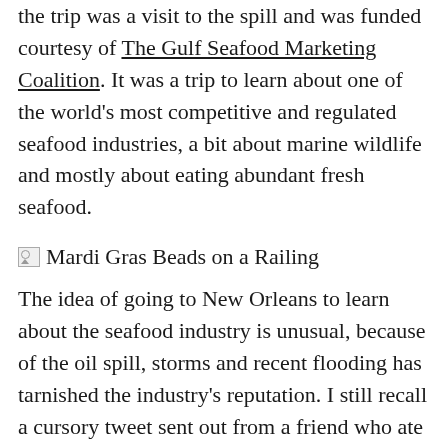the trip was a visit to the spill and was funded courtesy of The Gulf Seafood Marketing Coalition. It was a trip to learn about one of the world's most competitive and regulated seafood industries, a bit about marine wildlife and mostly about eating abundant fresh seafood.
[Figure (photo): Mardi Gras Beads on a Railing — broken image placeholder with alt text]
The idea of going to New Orleans to learn about the seafood industry is unusual, because of the oil spill, storms and recent flooding has tarnished the industry's reputation. I still recall a cursory tweet sent out from a friend who ate a dish with shrimp from the Gulf a few months after the oil spill, thanking [fill in irresponsible oil company we don't want to mention here] for a seafood dish tasting of oil. Even returning from New Orleans, the cab driver had plenty of unkind words for what [oil